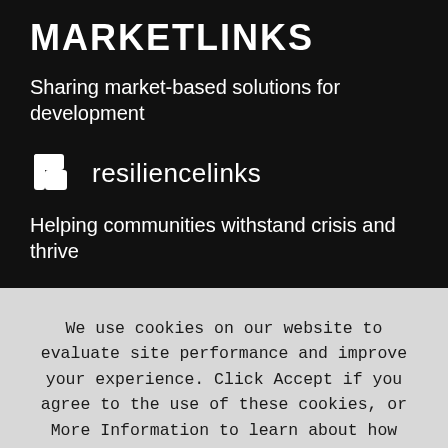MARKETLINKS
Sharing market-based solutions for development
[Figure (logo): Resiliencelinks logo with icon showing stylized R shape and the text 'resiliencelinks']
Helping communities withstand crisis and thrive
We use cookies on our website to evaluate site performance and improve your experience. Click Accept if you agree to the use of these cookies, or More Information to learn about how we manage information on our site.
Accept  More information